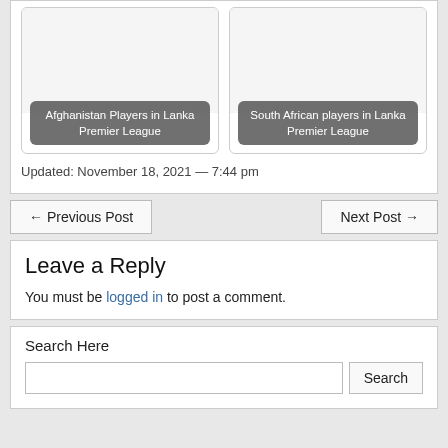[Figure (screenshot): Two card thumbnails: 'Afghanistan Players in Lanka Premier League' and 'South African players in Lanka Premier League']
Updated: November 18, 2021 — 7:44 pm
← Previous Post
Next Post →
Leave a Reply
You must be logged in to post a comment.
Search Here